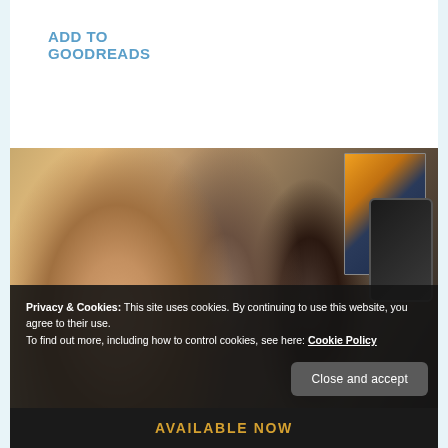ADD TO GOODREADS
[Figure (photo): A smiling couple (woman with blonde hair, man in black shirt) close together, with book covers and a phone showing a romance novel in the upper right corner. At the bottom, text reads 'AVAILABLE NOW' in gold lettering on a dark background.]
Privacy & Cookies: This site uses cookies. By continuing to use this website, you agree to their use.
To find out more, including how to control cookies, see here: Cookie Policy
Close and accept
AVAILABLE NOW